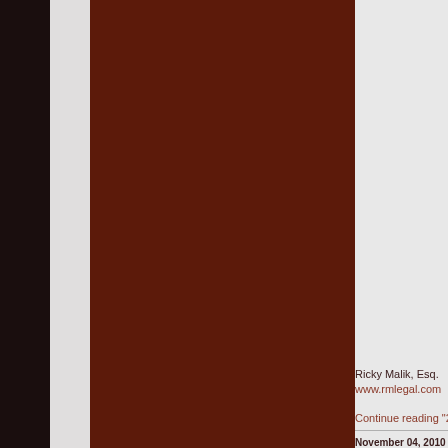[Figure (photo): Dark brown/maroon image panel occupying the center-left portion of the page, appearing to be a decorative or banner image for a legal blog website.]
Ricky Malik, Esq.
www.rmlegal.com
Continue reading "23
November 04, 2010
Immigration immigration fr
Posted By Ricky Mal
In a leaked memo en